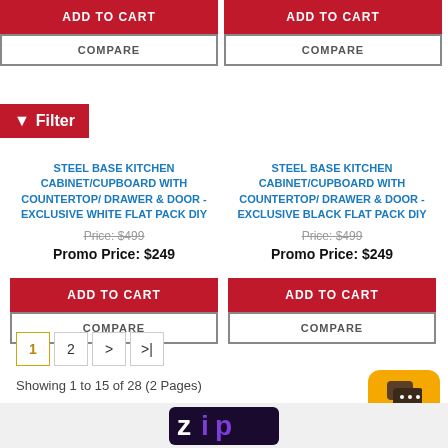[Figure (screenshot): Add to Cart button (red) and Compare button (grey outline) for left product column at top]
[Figure (screenshot): Add to Cart button (red) and Compare button (grey outline) for right product column at top]
Filter
STEEL BASE KITCHEN CABINET/CUPBOARD WITH COUNTERTOP/ DRAWER & DOOR - EXCLUSIVE WHITE FLAT PACK DIY
Price: $499
Promo Price: $249
[Figure (screenshot): Add to Cart button (red) and Compare button (grey outline) for left product column at bottom]
STEEL BASE KITCHEN CABINET/CUPBOARD WITH COUNTERTOP/ DRAWER & DOOR - EXCLUSIVE BLACK FLAT PACK DIY
Price: $499
Promo Price: $249
[Figure (screenshot): Add to Cart button (red) and Compare button (grey outline) for right product column at bottom]
1 | 2 | > | >|
Showing 1 to 15 of 28 (2 Pages)
[Figure (infographic): Live Chat button with orange background and chat icon]
[Figure (logo): Zip payment logo]